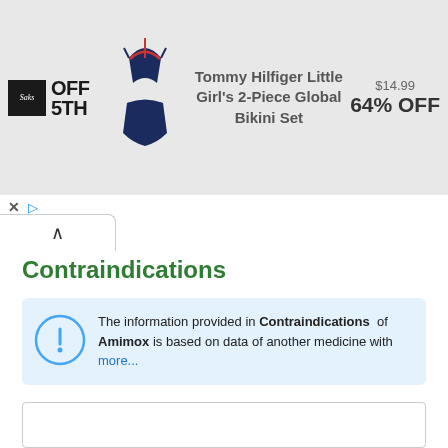[Figure (screenshot): Saks OFF 5TH advertisement banner showing Tommy Hilfiger Little Girl's 2-Piece Global Bikini Set at $14.99 with 64% OFF]
Contraindications
The information provided in Contraindications of Amimox is based on data of another medicine with more...